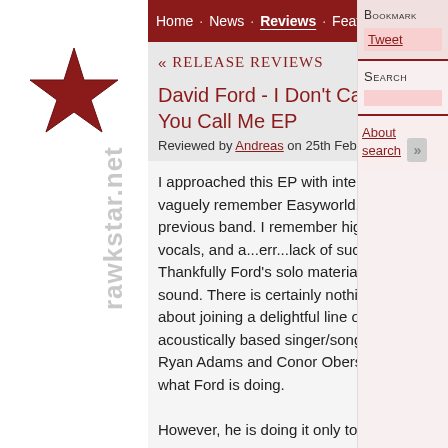[Figure (logo): rawkstar.net logo: large red star above rotated grey text 'rawkstar.net']
Home · News · Reviews · Features · Blog · Pode
« Release reviews
David Ford - I Don't Care What You Call Me EP
Reviewed by Andreas on 25th February 2006
I approached this EP with interest. I vaguely remember Easyworld, Ford's previous band. I remember high-pitched vocals, and a...err...lack of success. Thankfully Ford's solo material is more sound. There is certainly nothing wrong about joining a delightful line of acoustically based singer/songwriters like Ryan Adams and Conor Oberst, which is what Ford is doing.
However, he is doing it only to